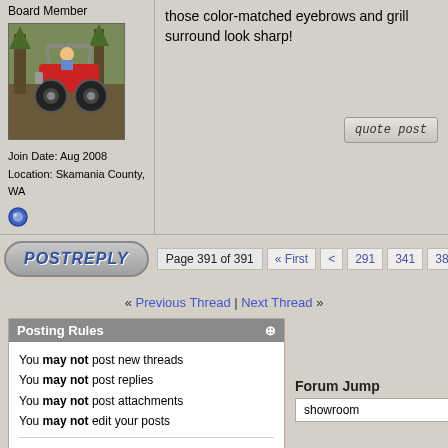Board Member
[Figure (photo): Off-road vehicle (buggy) climbing terrain outdoors]
Join Date: Aug 2008
Location: Skamania County, WA
those color-matched eyebrows and grill surround look sharp!
quote post
Page 391 of 391  « First  <  291  341  381  ...
POST REPLY
« Previous Thread | Next Thread »
Posting Rules
You may not post new threads
You may not post replies
You may not post attachments
You may not edit your posts
BB code is On
Smilies are On
[IMG] code is On
HTML code is On
Forum Rules
Forum Jump
showroom